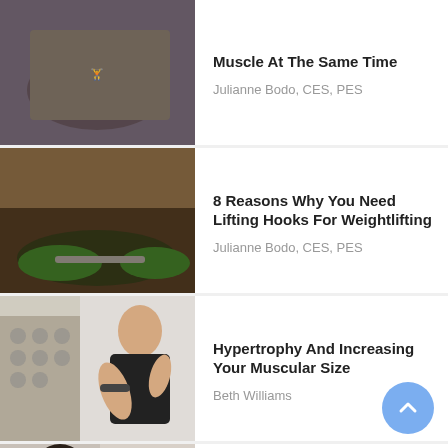[Figure (photo): Person doing a plank or push-up exercise with a dumbbell in a gym]
Muscle At The Same Time
Julianne Bodo, CES, PES
[Figure (photo): Person lifting a barbell with green weight plates]
8 Reasons Why You Need Lifting Hooks For Weightlifting
Julianne Bodo, CES, PES
[Figure (photo): Man in black shirt doing bicep curls with dumbbells in a gym]
Hypertrophy And Increasing Your Muscular Size
Beth Williams
[Figure (photo): Two men in a gym, one in foreground from behind, one facing camera holding a dumbbell]
How To Become A Bodybuilding Coach
Beth Williams
[Figure (photo): Black and white dumbbell on dark background]
Does Nitric Oxide Assist With Muscle Gain?